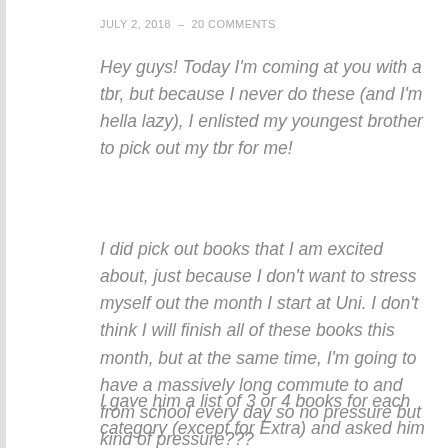JULY 2, 2018  –  20 COMMENTS
Hey guys! Today I'm coming at you with a tbr, but because I never do these (and I'm hella lazy), I enlisted my youngest brother to pick out my tbr for me!
I did pick out books that I am excited about, just because I don't want to stress myself out the month I start at Uni. I don't think I will finish all of these books this month, but at the same time, I'm going to have a massively long commute to and from school every day so no pressure but kind of pressure???
I gave him a list of 3 or 4 books for each category (except for Extra) and asked him to choose, which he did. And then, I told him that for the last category